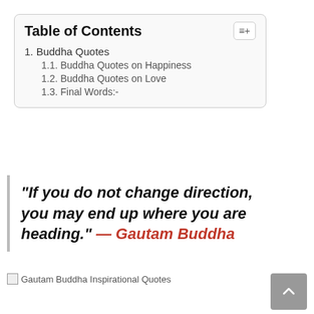| Table of Contents |
| --- |
| 1. Buddha Quotes |
| 1.1. Buddha Quotes on Happiness |
| 1.2. Buddha Quotes on Love |
| 1.3. Final Words:- |
“If you do not change direction, you may end up where you are heading.” — Gautam Buddha
[Figure (photo): Gautam Buddha Inspirational Quotes image placeholder]